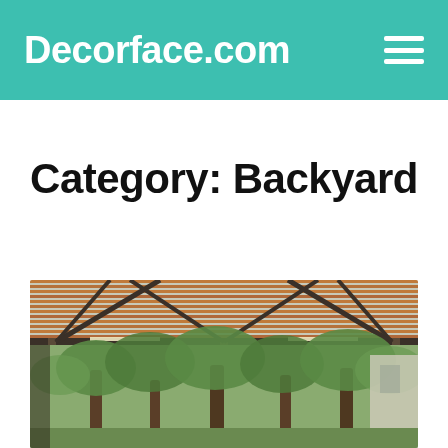Decorface.com
Category: Backyard
[Figure (photo): Outdoor pergola with horizontal wooden slats on the roof and metal frame structure, with large trees visible underneath in a backyard setting.]